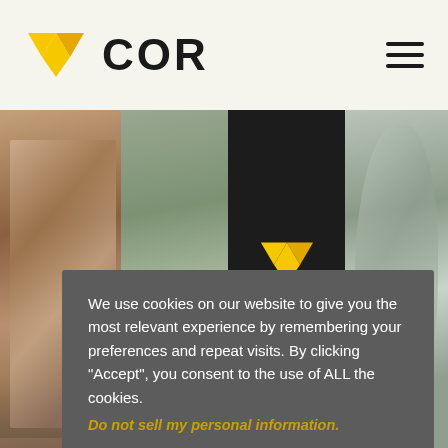[Figure (logo): COR logo with yellow chevron/arrow icon and bold COR text]
[Figure (photo): Four-panel image grid: hand on laptop keyboard, blurred office plant background, COR logo on dark background with NOWLEDGE text, blurred cat or animal]
We use cookies on our website to give you the most relevant experience by remembering your preferences and repeat visits. By clicking “Accept”, you consent to the use of ALL the cookies.
Do not sell my personal information.